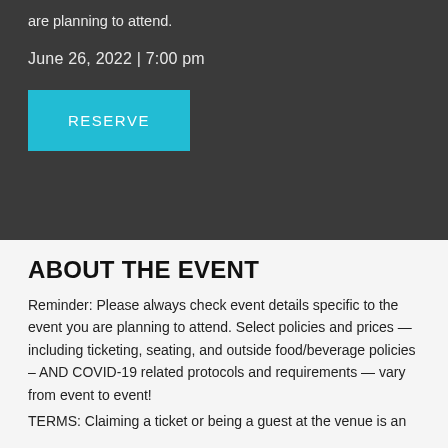are planning to attend.
June 26, 2022 | 7:00 pm
RESERVE
ABOUT THE EVENT
Reminder: Please always check event details specific to the event you are planning to attend. Select policies and prices — including ticketing, seating, and outside food/beverage policies – AND COVID-19 related protocols and requirements — vary from event to event!
TERMS: Claiming a ticket or being a guest at the venue is an